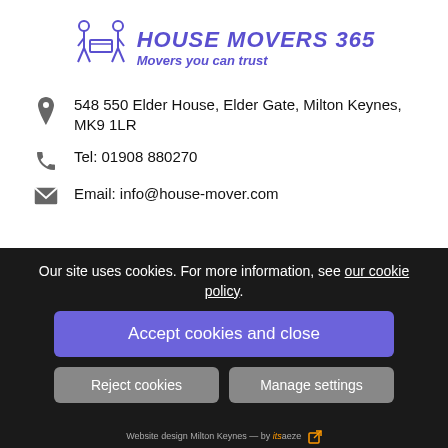[Figure (logo): House Movers 365 logo with two figures carrying a table and text 'HOUSE MOVERS 365 - Movers you can trust']
548 550 Elder House, Elder Gate, Milton Keynes, MK9 1LR
Tel: 01908 880270
Email: info@house-mover.com
Find us on Facebook
Follow us on Instagram
Our site uses cookies. For more information, see our cookie policy.
Accept cookies and close
Reject cookies
Manage settings
Website design Milton Keynes — by itsaeze